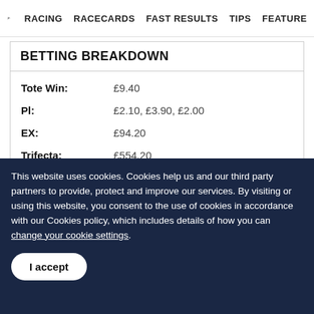RACING  RACECARDS  FAST RESULTS  TIPS  FEATURE
BETTING BREAKDOWN
| Tote Win: | £9.40 |
| Pl: | £2.10, £3.90, £2.00 |
| EX: | £94.20 |
| Trifecta: | £554.20 |
| Tricast: | £496.46 |
This website uses cookies. Cookies help us and our third party partners to provide, protect and improve our services. By visiting or using this website, you consent to the use of cookies in accordance with our Cookies policy, which includes details of how you can change your cookie settings.
I accept